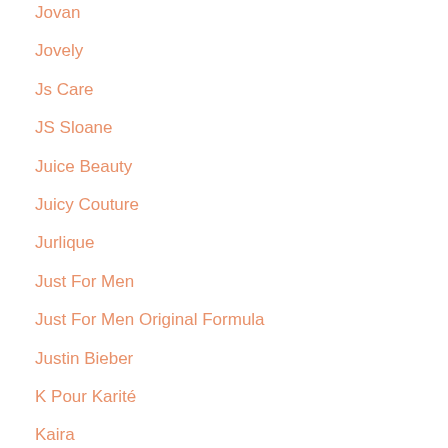Jovan
Jovely
Js Care
JS Sloane
Juice Beauty
Juicy Couture
Jurlique
Just For Men
Just For Men Original Formula
Justin Bieber
K Pour Karité
Kaira